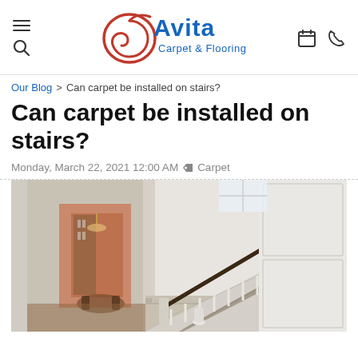[Figure (logo): Avita Carpet & Flooring logo with red swirl and blue text, plus hamburger menu, search, calendar, and phone icons in header navigation]
Our Blog > Can carpet be installed on stairs?
Can carpet be installed on stairs?
Monday, March 22, 2021 12:00 AM  Carpet
[Figure (photo): Interior photo of a grand staircase with beige/grey carpet runner, white wainscoting walls, dark wood banister, and a view of a dining room in the background]